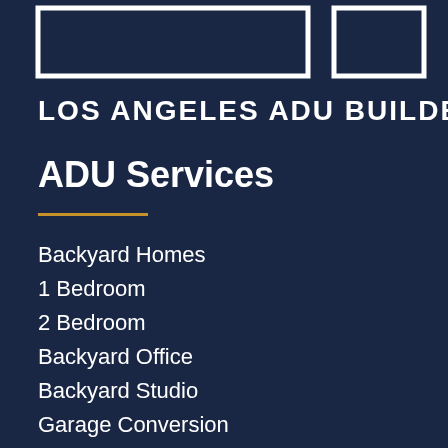[Figure (logo): Los Angeles ADU Builder logo — white geometric house/building outlines on dark navy background with text LOS ANGELES ADU BUILDER]
ADU Services
Backyard Homes
1 Bedroom
2 Bedroom
Backyard Office
Backyard Studio
Garage Conversion
ADU Construction